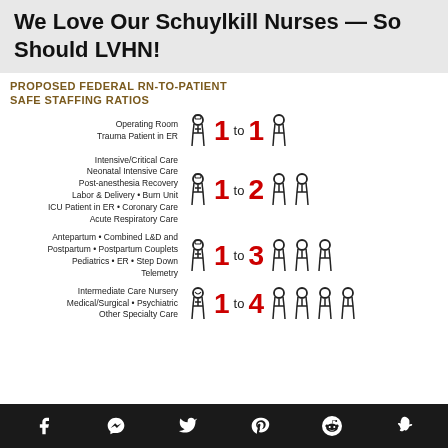We Love Our Schuylkill Nurses — So Should LVHN!
PROPOSED FEDERAL RN-TO-PATIENT SAFE STAFFING RATIOS
[Figure (infographic): Infographic showing proposed federal RN-to-patient safe staffing ratios with nurse and patient icons. Four rows: Operating Room / Trauma Patient in ER: 1 to 1; Intensive/Critical Care, Neonatal Intensive Care, Post-anesthesia Recovery, Labor & Delivery, Burn Unit, ICU Patient in ER, Coronary Care, Acute Respiratory Care: 1 to 2; Antepartum, Combined L&D and Postpartum, Postpartum Couplets, Pediatrics, ER, Step Down, Telemetry: 1 to 3; Intermediate Care Nursery, Medical/Surgical, Psychiatric, Other Specialty Care: 1 to 4]
Social media icons: Facebook, Messenger, Twitter, Pinterest, Reddit, Snapchat